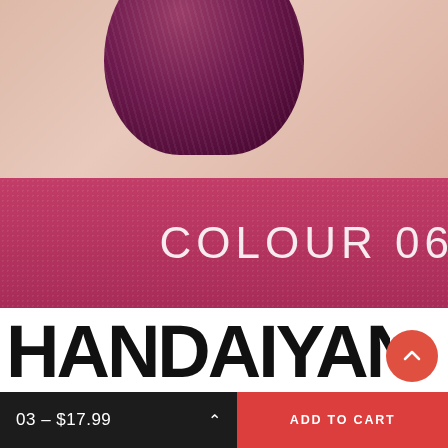[Figure (photo): Close-up product photo of a lipstick bullet in deep berry/plum color on a pinkish background, with a textured berry/magenta color swatch band showing text 'COLOUR 06']
HANDAIYAN
03 – $17.99
ADD TO CART